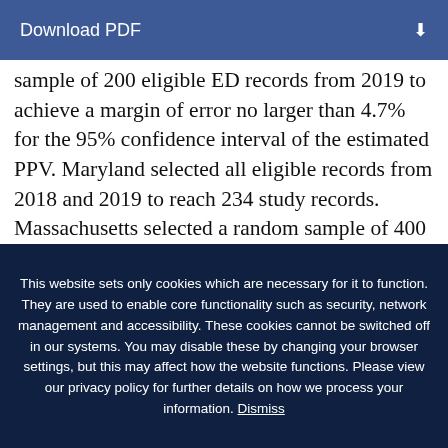Download PDF
sample of 200 eligible ED records from 2019 to achieve a margin of error no larger than 4.7% for the 95% confidence interval of the estimated PPV. Maryland selected all eligible records from 2018 and 2019 to reach 234 study records. Massachusetts selected a random sample of 400 eligible ED records from October 1, 2017,
This website sets only cookies which are necessary for it to function. They are used to enable core functionality such as security, network management and accessibility. These cookies cannot be switched off in our systems. You may disable these by changing your browser settings, but this may affect how the website functions. Please view our privacy policy for further details on how we process your information. Dismiss